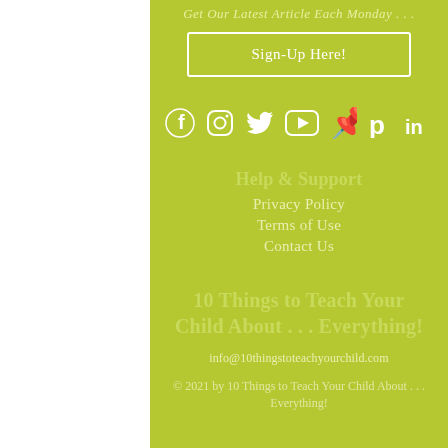Get Our Latest Article Each Monday . . .
Sign-Up Here!
[Figure (infographic): Row of social media icons: Facebook, Instagram, Twitter, YouTube, Pinterest, LinkedIn — all white on green background]
Help & Support
Privacy Policy
Terms of Use
Contact Us
10 Things to Teach Your Child About . . . Everything!
info@10thingstoteachyourchild.com
© 2021 by 10 Things to Teach Your Child About . . . Everything!